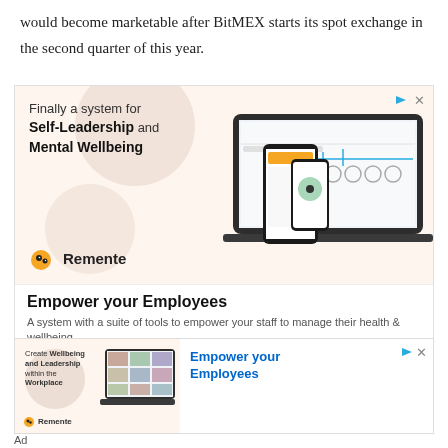would become marketable after BitMEX starts its spot exchange in the second quarter of this year.
[Figure (screenshot): Advertisement for Remente app — 'Finally a system for Self-Leadership and Mental Wellbeing'. Shows laptop, tablet, and phone displaying the Remente app interface. Bottom text: 'Empower your Employees — A system with a suite of tools to empower your staff to manage their health & wellbeing'.]
[Figure (screenshot): Smaller advertisement for Remente — 'Create Wellbeing and Leadership within the Workplace' with app screenshots. Right side text: 'Empower your Employees'.]
Ad